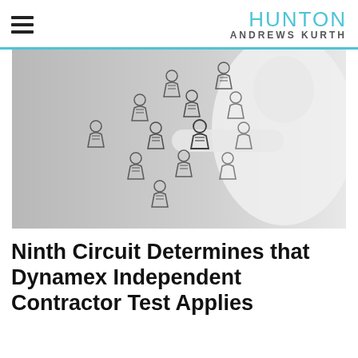HUNTON ANDREWS KURTH
[Figure (illustration): A person in a white jacket viewed from behind, pointing at floating illustrated person/user icons arranged in a network pattern against a grey background.]
Ninth Circuit Determines that Dynamex Independent Contractor Test Applies